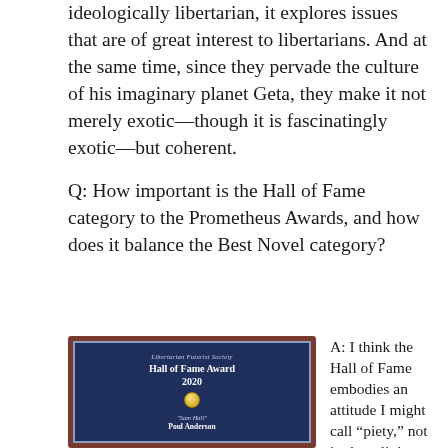ideologically libertarian, it explores issues that are of great interest to libertarians. And at the same time, since they pervade the culture of his imaginary planet Geta, they make it not merely exotic—though it is fascinatingly exotic—but coherent.
Q: How important is the Hall of Fame category to the Prometheus Awards, and how does it balance the Best Novel category?
[Figure (photo): A wooden plaque with a dark navy blue panel. Text reads: Libertarian Futurist Society, Hall of Fame Award 2020, with a gold medallion, then "Sam Hall", Poul Anderson]
A: I think the Hall of Fame embodies an attitude I might call “piety,” not in the religious sense but more in the Roman sense: not, for libertarians, blind conformity